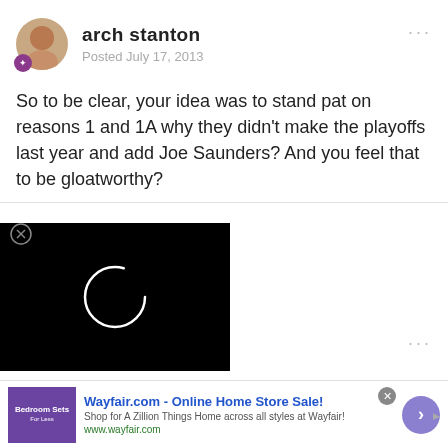arch stanton
Posted July 17, 2013
So to be clear, your idea was to stand pat on reasons 1 and 1A why they didn't make the playoffs last year and add Joe Saunders? And you feel that to be gloatworthy?
[Figure (screenshot): Video player with black background and a white circular spinner/loading ring in the center]
This team would have been just as bad while having much more
[Figure (screenshot): Advertisement banner for Wayfair.com - Online Home Store Sale! Shop for A Zillion Things Home across all styles at Wayfair! www.wayfair.com]